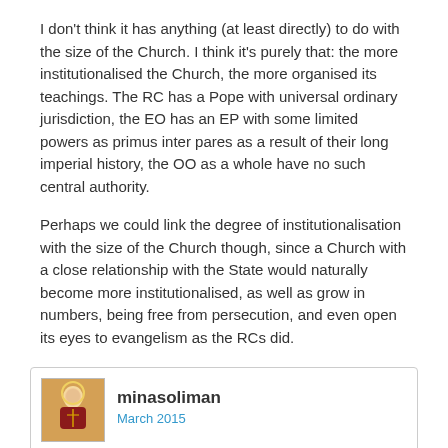I don't think it has anything (at least directly) to do with the size of the Church. I think it's purely that: the more institutionalised the Church, the more organised its teachings. The RC has a Pope with universal ordinary jurisdiction, the EO has an EP with some limited powers as primus inter pares as a result of their long imperial history, the OO as a whole have no such central authority.
Perhaps we could link the degree of institutionalisation with the size of the Church though, since a Church with a close relationship with the State would naturally become more institutionalised, as well as grow in numbers, being free from persecution, and even open its eyes to evangelism as the RCs did.
minasoliman
March 2015
katanikhoros said: It seems that the larger the church, the more institutionalized and organized its teachings become. Hence why RC seem more scientific than EO who seem more scientific than us OO's. I suppose Assyrian Church of the East is even less nuanced.
On the contrary, Nestorianism is guilty of pretty much the same thing,